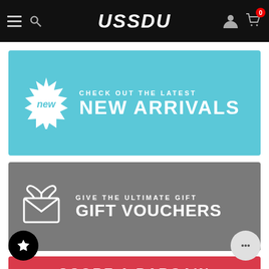USSDU
[Figure (infographic): Blue banner with starburst 'new' badge and text: CHECK OUT THE LATEST NEW ARRIVALS]
[Figure (infographic): Grey banner with gift envelope icon and text: GIVE THE ULTIMATE GIFT GIFT VOUCHERS]
[Figure (infographic): Red/pink banner with text: SCORE A BARGAIN, with favourites star button bottom-left and chat bubble button bottom-right]